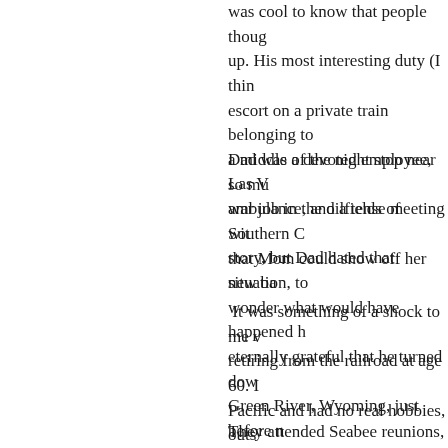was cool to know that people thoug... up. His most interesting duty (I thin... escort on a private train belonging to... a middle of the night stop near Las V... ambulance, and a tense meeting wit... story, but Dad hated that situation, to...
Dad was a devoted employee, so mu... war job in the oilfields of Southern C... that Mom could show off her new ba... wonder what would have happened h... eternally grateful that he turned dow... Green River, Wyoming, just before n...
It was something of a shock to me w... retiring from the railroad at age 60. ... Pacific and had no real hobbies, outs... pursued intently during the 1960s an... woodworking and considered model... and rode bikes with Mom, but most... just hanging with Mom.
They attended Seabee reunions, did... (Mom on fiddle; Dad on dobro) and... winter. They provided RAGBRAI s...